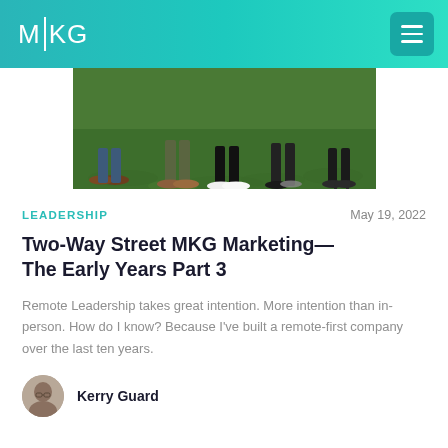MKG
[Figure (photo): Cropped photo showing people standing on grass, only visible from the knees/feet down. Several pairs of shoes visible: brown leather shoes, white sneakers, black heels, and other footwear on a green grass background.]
LEADERSHIP
May 19, 2022
Two-Way Street MKG Marketing—The Early Years Part 3
Remote Leadership takes great intention. More intention than in-person. How do I know? Because I've built a remote-first company over the last ten years.
Kerry Guard